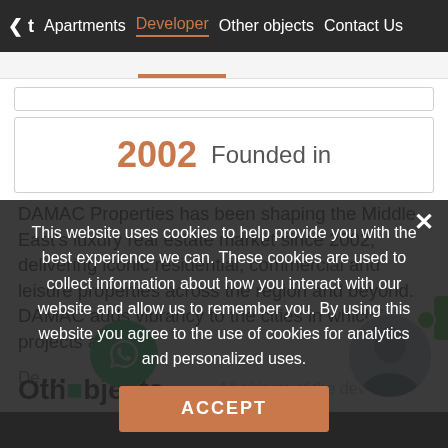< t   Apartments   Developer   Other objects   Contact Us
2002   Founded in
DAMAC Properties has been shaping the Middle East's luxury real estate market since 2002, delivering iconic residential, commercial and leisure properties across the region and beyond. DAMAC adds vibrancy to the cities in which its projects are...
This website uses cookies to help provide you with the best experience we can. These cookies are used to collect information about how you interact with our website and allow us to remember you. By using this website you agree to the use of cookies for analytics and personalized uses.
ACCEPT
Other objects
All objects of the developer